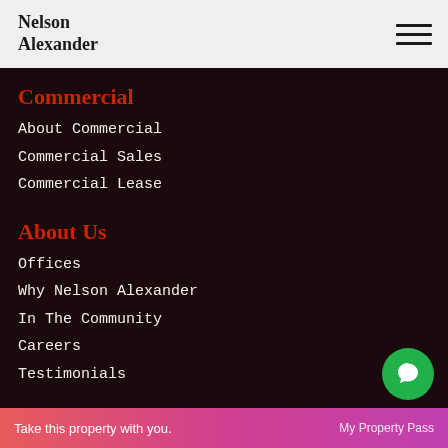Nelson Alexander
Commercial
About Commercial
Commercial Sales
Commercial Lease
About Us
Offices
Why Nelson Alexander
In The Community
Careers
Testimonials
Take this property with you.  My Property Pass